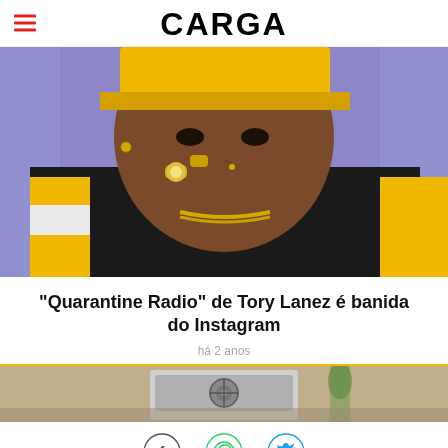CARGA
[Figure (photo): Portrait photo of Tory Lanez wearing a yellow cap and black/yellow/white tracksuit jacket, with tattooed hand raised near his face showing gold diamond rings, against a purple background]
“Quarantine Radio” de Tory Lanez é banida do Instagram
há 2 anos
[Figure (photo): Partial photo of an air conditioning outdoor unit on a concrete surface with a plant in the background]
[Figure (infographic): Social share icons: Facebook (f), WhatsApp, Twitter (bird)]